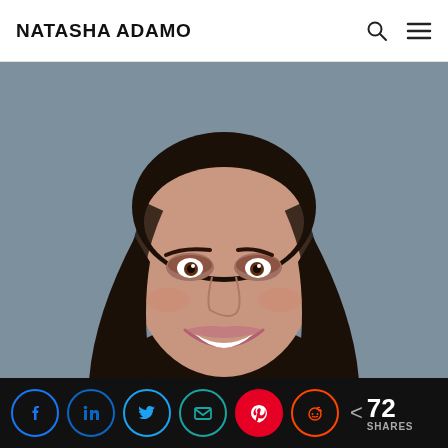NATASHA ADAMO
[Figure (photo): Portrait photo of a woman with long dark hair, smiling, against a gray background]
72 SHARES — share buttons: Facebook, LinkedIn, Twitter, Email, Pinterest, Reddit